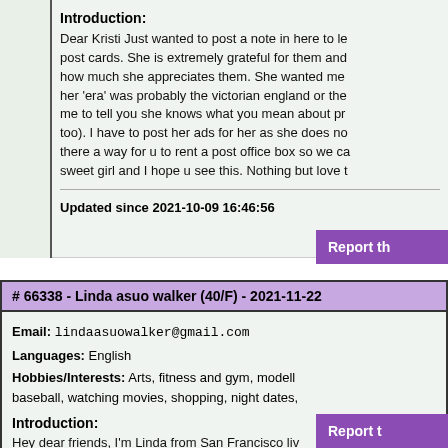Introduction:
Dear Kristi Just wanted to post a note in here to le post cards. She is extremely grateful for them and how much she appreciates them. She wanted me her 'era' was probably the victorian england or the me to tell you she knows what you mean about pr too). I have to post her ads for her as she does n there a way for u to rent a post office box so we c sweet girl and I hope u see this. Nothing but love
Updated since 2021-10-09 16:46:56
Report t
# 66338 - Linda asuo walker (40/F) - 2021-11-22
Email: lindaasuowalker@gmail.com
Languages: English
Hobbies/Interests: Arts, fitness and gym, modell baseball, watching movies, shopping, night dates,
Introduction:
Hey dear friends, I'm Linda from San Francisco liv mostly feel bored when I'm in doors . I hope to fine mostly men of love, care and honest.
Report t